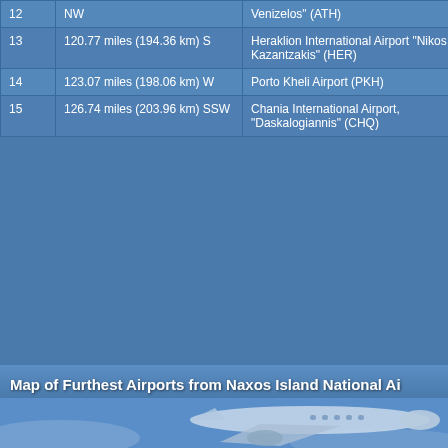| # | Distance | Airport |
| --- | --- | --- |
| 12 | NW | Venizelos" (ATH) |
| 13 | 120.77 miles (194.36 km) S | Heraklion International Airport "Nikos Kazantzakis" (HER) |
| 14 | 123.07 miles (198.06 km) W | Porto Kheli Airport (PKH) |
| 15 | 126.74 miles (203.96 km) SSW | Chania International Airport, "Daskalogiannis" (CHQ) |
Map of Furthest Airports from Naxos Island National Ai...
[Figure (photo): Airplane flying through blue sky with clouds, view from below and side]